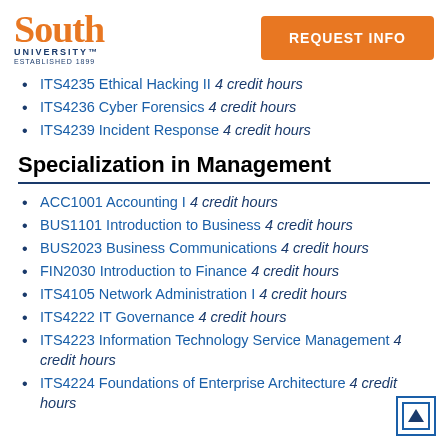South University™ ESTABLISHED 1899 | REQUEST INFO
ITS4235 Ethical Hacking II 4 credit hours
ITS4236 Cyber Forensics 4 credit hours
ITS4239 Incident Response 4 credit hours
Specialization in Management
ACC1001 Accounting I 4 credit hours
BUS1101 Introduction to Business 4 credit hours
BUS2023 Business Communications 4 credit hours
FIN2030 Introduction to Finance 4 credit hours
ITS4105 Network Administration I 4 credit hours
ITS4222 IT Governance 4 credit hours
ITS4223 Information Technology Service Management 4 credit hours
ITS4224 Foundations of Enterprise Architecture 4 credit hours